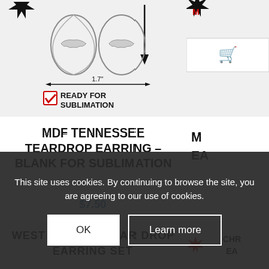[Figure (illustration): Product diagram of MDF Tennessee Teardrop Earring blank showing two teardrop shaped earrings with Tennessee state silhouette cutout, dimension arrow showing 1.7 inches width, and a red checkmark 'READY FOR SUBLIMATION' badge.]
MDF TENNESSEE TEARDROP EARRING – BLANK FOR SUBLIMATION
$7.50
[Figure (illustration): Partial view of product image showing West Virginia Tear Drop Earring Set product, with bold text visible at top.]
WEST VIRGINIA TEAR DROP EARRING SET
[Figure (illustration): Partial right-side product card showing partial product image with cart button icon and partial product title starting with 'M' then 'EA'.]
This site uses cookies. By continuing to browse the site, you are agreeing to our use of cookies.
OK
Learn more